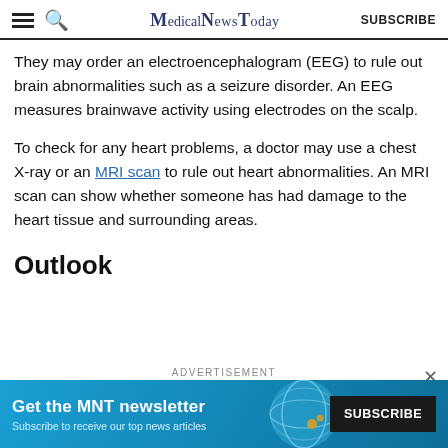MedicalNewsToday  SUBSCRIBE
They may order an electroencephalogram (EEG) to rule out brain abnormalities such as a seizure disorder. An EEG measures brainwave activity using electrodes on the scalp.
To check for any heart problems, a doctor may use a chest X-ray or an MRI scan to rule out heart abnormalities. An MRI scan can show whether someone has had damage to the heart tissue and surrounding areas.
Outlook
[Figure (screenshot): Advertisement banner for MNT newsletter: 'Get the MNT newsletter — Subscribe to receive our top news articles' with a SUBSCRIBE button, blue background with globe graphic, and a close (×) button.]